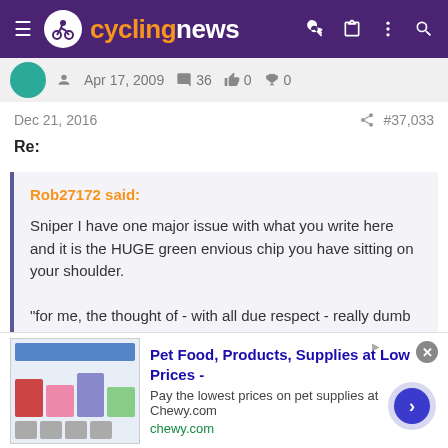cyclingnews
Apr 17, 2009  36  0  0
Dec 21, 2016  #37,033
Re:
Rob27172 said:

Sniper I have one major issue with what you write here and it is the HUGE green envious chip you have sitting on your shoulder.

"for me, the thought of - with all due respect - really dumb people like Messi and Ronaldo making so much money that the next 10 or 15 generations of their offspring will never have to work a single minute is unbearable
[Figure (screenshot): Advertisement for Chewy.com: Pet Food, Products, Supplies at Low Prices - Pay the lowest prices on pet supplies at Chewy.com]